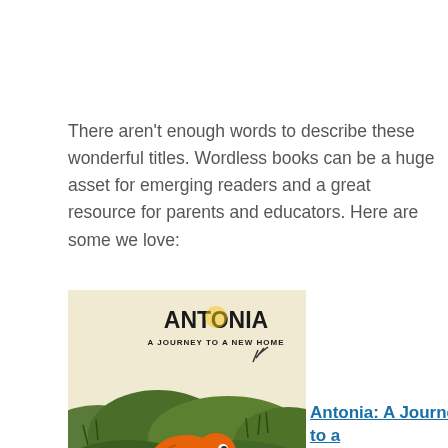There aren't enough words to describe these wonderful titles. Wordless books can be a huge asset for emerging readers and a great resource for parents and educators. Here are some we love:
[Figure (illustration): Book cover of 'Antonia: A Journey to a New Home' by Dipacho. Shows a round orange bird-like creature running through green grassy landscape. Title text 'ANTONIA' in large bold letters with 'A Journey to a New Home' below.]
Antonia: A Journey to a